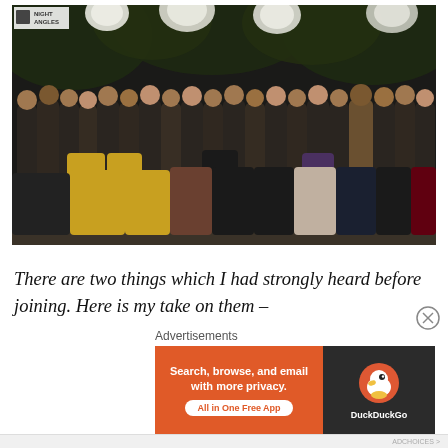[Figure (photo): Group photo of approximately 40 people posed together outdoors at night, with decorative round paper lanterns visible at the top and trees in the background. A small logo reading 'NIGHT ANGLES' appears in the top-left corner of the photo.]
There are two things which I had strongly heard before joining. Here is my take on them –
Advertisements
[Figure (infographic): DuckDuckGo advertisement banner. Left orange section reads 'Search, browse, and email with more privacy. All in One Free App'. Right dark section shows DuckDuckGo logo (duck icon) and text 'DuckDuckGo'.]